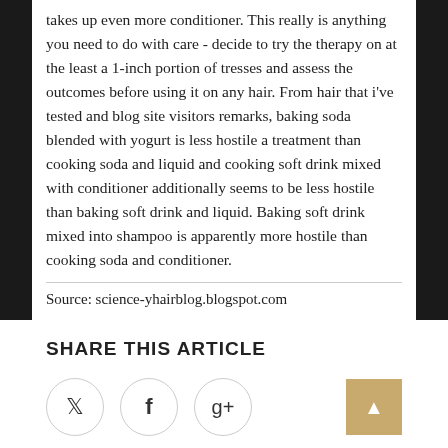takes up even more conditioner. This really is anything you need to do with care - decide to try the therapy on at the least a 1-inch portion of tresses and assess the outcomes before using it on any hair. From hair that i've tested and blog site visitors remarks, baking soda blended with yogurt is less hostile a treatment than cooking soda and liquid and cooking soft drink mixed with conditioner additionally seems to be less hostile than baking soft drink and liquid. Baking soft drink mixed into shampoo is apparently more hostile than cooking soda and conditioner.
Source: science-yhairblog.blogspot.com
SHARE THIS ARTICLE